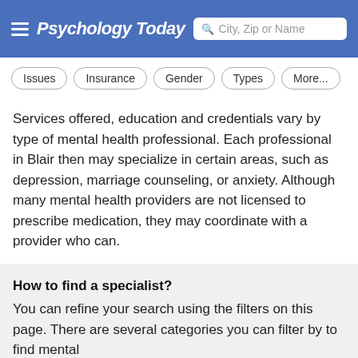Psychology Today — City, Zip or Name search
Issues
Insurance
Gender
Types
More...
Services offered, education and credentials vary by type of mental health professional. Each professional in Blair then may specialize in certain areas, such as depression, marriage counseling, or anxiety. Although many mental health providers are not licensed to prescribe medication, they may coordinate with a provider who can.
Both in-person and online therapy sessions are available from most psychologists.
How to find a specialist?
You can refine your search using the filters on this page. There are several categories you can filter by to find mental